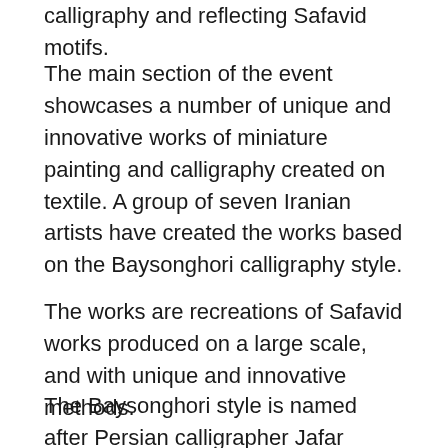calligraphy and reflecting Safavid motifs.
The main section of the event showcases a number of unique and innovative works of miniature painting and calligraphy created on textile. A group of seven Iranian artists have created the works based on the Baysonghori calligraphy style.
The works are recreations of Safavid works produced on a large scale, and with unique and innovative methods.
The Baysonghori style is named after Persian calligrapher Jafar Baysonghori, who created a